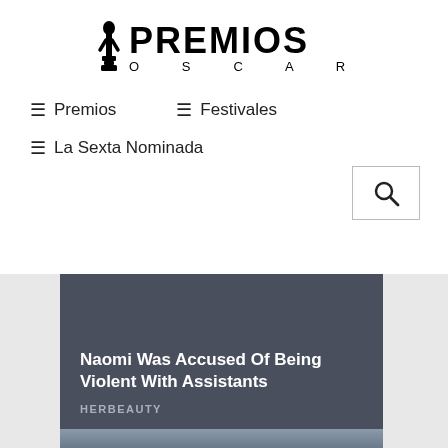[Figure (logo): Premios Oscar logo with Oscar statuette figure and text PREMIOS OSCAR]
☰ Premios
☰ Festivales
☰ La Sexta Nominada
[Figure (screenshot): Search button with magnifying glass icon]
[Figure (photo): Article card with dark blue-grey background showing headline: Naomi Was Accused Of Being Violent With Assistants, source: HERBEAUTY]
[Figure (photo): Partial bottom image with blue-grey tones]